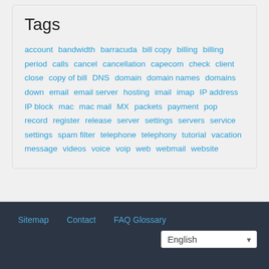Tags
account bandwidth barracuda bill copy billing billing period calls cancel cancellation capecom check client close copy of bill DNS domain domain names domains down email email server hosting imail imap IP address IP block mac mac mail MX packets payment pop record register release server settings servers service settings spam filter telephone telephony tutorial vacation message videos voice voip web webmail website
Sitemap  Contact  FAQ Glossary  English